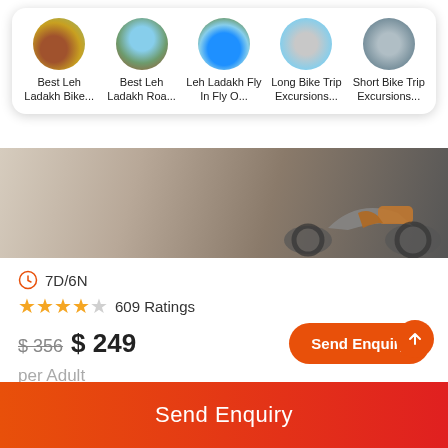[Figure (screenshot): Horizontal scrollable row of 5 tour category cards with circular thumbnail images and labels: Best Leh Ladakh Bike.., Best Leh Ladakh Roa..., Leh Ladakh Fly In Fly O..., Long Bike Trip Excursions..., Short Bike Trip Excursions..]
[Figure (photo): Motorcycle handlebar and tank on rocky/gravel terrain, panoramic banner image]
7D/6N
★★★★☆ 609 Ratings
$ 356  $ 249
per Adult
Send Enquiry
About the Tour:
Get ready to make your dream of riding in Ladakh come true in the action-packed bike trip that takes you to the top of the world through the world's highest motorable passes with the specta...
Send Enquiry